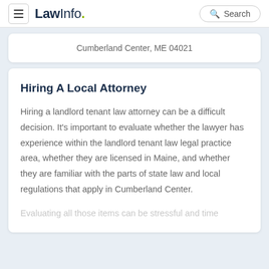LawInfo. Search
Cumberland Center, ME 04021
Hiring A Local Attorney
Hiring a landlord tenant law attorney can be a difficult decision. It's important to evaluate whether the lawyer has experience within the landlord tenant law legal practice area, whether they are licensed in Maine, and whether they are familiar with the parts of state law and local regulations that apply in Cumberland Center.
Evaluating all those items can be stressful and time